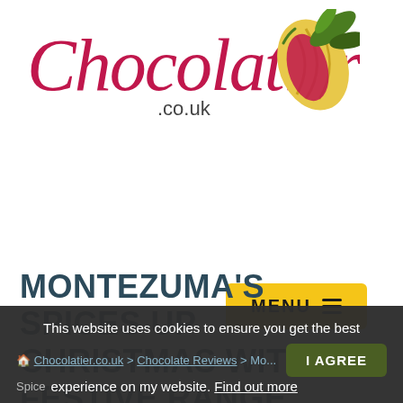[Figure (logo): Chocolatier.co.uk logo with cursive red text and cacao pod illustration in yellow, red and green]
[Figure (other): Yellow MENU button with hamburger icon lines]
GIFTED PRODUCT
MONTEZUMA'S SPICES UP CHRISTMAS WITH ITS FESTIVE RANGE
This website uses cookies to ensure you get the best experience on my website. Find out more    I AGREE
Chocolatier.co.uk > Chocolate Reviews > Montezuma's Spices Up Christmas With Its Festive Range